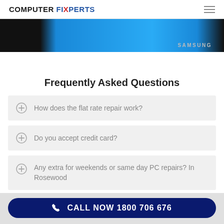COMPUTER FIXPERTS
[Figure (photo): Partial view of a Samsung monitor with bright blue screen against dark background]
Frequently Asked Questions
How does the flat rate repair work?
Do you accept credit card?
Any extra for weekends or same day PC repairs? In Rosewood
CALL NOW 1800 706 676